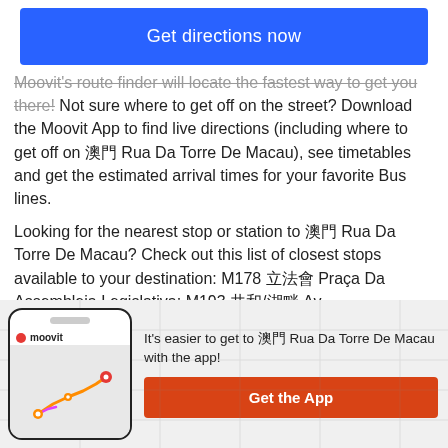Get directions now
Moovit's route finder will locate the fastest way to get you there! Not sure where to get off on the street? Download the Moovit App to find live directions (including where to get off on 澳門 Rua Da Torre De Macau), see timetables and get the estimated arrival times for your favorite Bus lines.
Looking for the nearest stop or station to 澳門 Rua Da Torre De Macau? Check out this list of closest stops available to your destination: M178 立法會 Praça Da Assembleia Legislativa; M193 共和/湖畔 Av. República/Lago Sai Wan; M192 共和 Av. República; M199 南灣觀光湖 Avenida Panoramica Do Lago Nam Van; M177 巡警
It's easier to get to 澳門 Rua Da Torre De Macau with the app!
Get the App